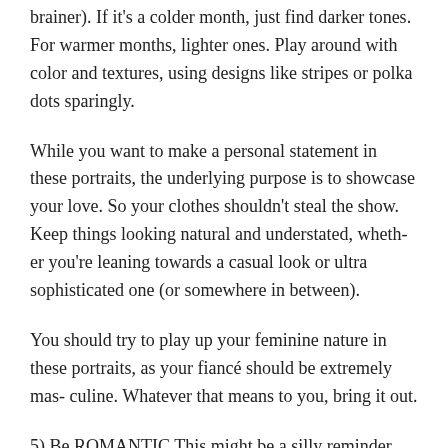brainer). If it's a colder month, just find darker tones. For warmer months, lighter ones. Play around with color and textures, using designs like stripes or polka dots sparingly.
While you want to make a personal statement in these portraits, the underlying purpose is to showcase your love. So your clothes shouldn't steal the show. Keep things looking natural and understated, wheth- er you're leaning towards a casual look or ultra sophisticated one (or somewhere in between).
You should try to play up your feminine nature in these portraits, as your fiancé should be extremely mas- culine. Whatever that means to you, bring it out.
5) Be ROMANTIC This might be a silly reminder, but some couples freeze up under the pressure of all the wedding planning and the organizing of the session. Once you are in front of the camera, it's important to